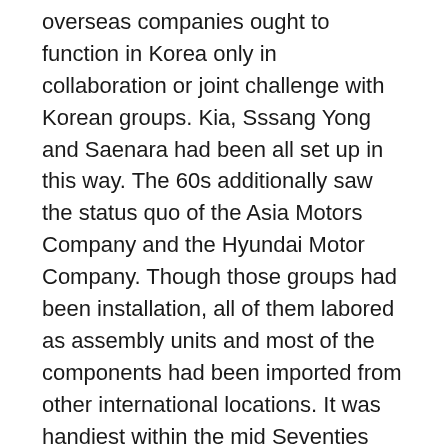overseas companies ought to function in Korea only in collaboration or joint challenge with Korean groups. Kia, Sssang Yong and Saenara had been all set up in this way. The 60s additionally saw the status quo of the Asia Motors Company and the Hyundai Motor Company. Though those groups had been installation, all of them labored as assembly units and most of the components had been imported from other international locations. It was handiest within the mid Seventies that Korea began growing and production vehicles inside its borders. This feat turned into accomplished by Hyundai first. In the Nineteen Eighties the groups in Korea began venturing into global markets. Though there have been a few hiccups inside the starting, the products quickly took off and there has been no turning back for this industry because then.
Even in view that Korea began developing its personal